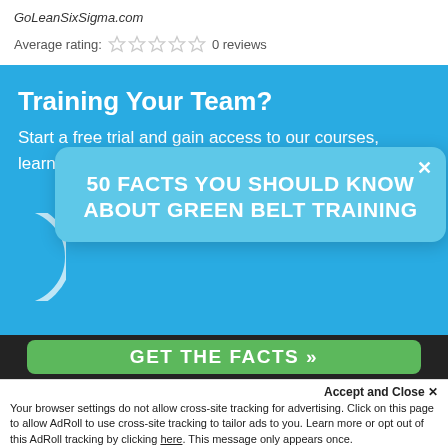GoLeanSixSigma.com
Average rating: 0 reviews
Training Your Team?
Start a free trial and gain access to our courses, learning platform and pricing information.
[Figure (infographic): Popup overlay with text: 50 FACTS YOU SHOULD KNOW ABOUT GREEN BELT TRAINING, with a close button (x) and partial circle icon on left]
[Figure (infographic): Green button with text GET THE FACTS >>]
Accept and Close ✕
Your browser settings do not allow cross-site tracking for advertising. Click on this page to allow AdRoll to use cross-site tracking to tailor ads to you. Learn more or opt out of this AdRoll tracking by clicking here. This message only appears once.